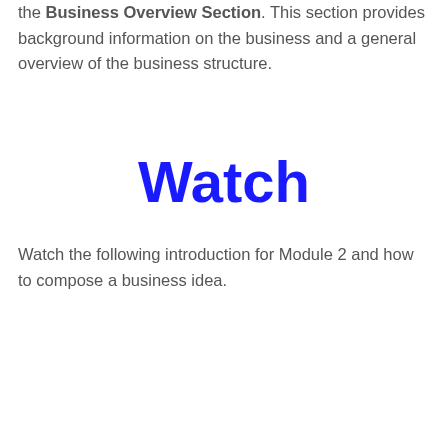the Business Overview Section. This section provides background information on the business and a general overview of the business structure.
Watch
Watch the following introduction for Module 2 and how to compose a business idea.